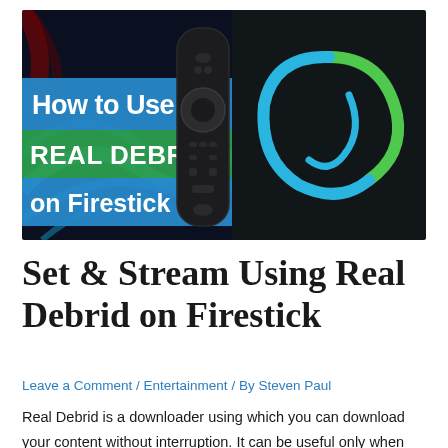[Figure (illustration): Thumbnail image showing a Fire TV Stick remote control on a dark background with blue swirling lines on the left half and a green/blue spiral logo on the dark right half. Text overlaid on blue/green banners reads 'How to Use REAL DEBRID on Firestick'.]
Set & Stream Using Real Debrid on Firestick
Leave a Comment / Entertainment / By Steven Paul
Real Debrid is a downloader using which you can download your content without interruption. It can be useful only when used with